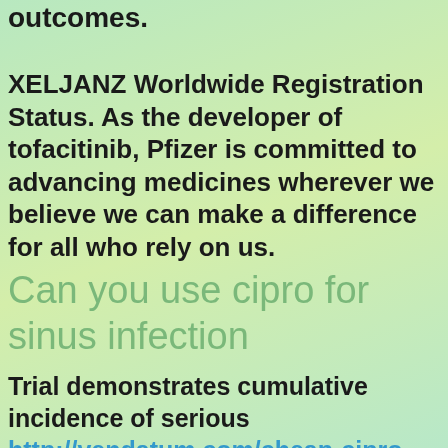outcomes.
XELJANZ Worldwide Registration Status. As the developer of tofacitinib, Pfizer is committed to advancing medicines wherever we believe we can make a difference for all who rely on us.
Can you use cipro for sinus infection
Trial demonstrates cumulative incidence of serious http://vendatum.com/cheap-cipro-100-canada/ infections compared to can you use cipro for sinus infection placebo. To view and